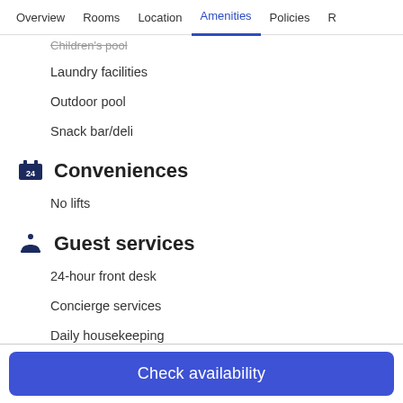Overview  Rooms  Location  Amenities  Policies  R
Children's pool
Laundry facilities
Outdoor pool
Snack bar/deli
Conveniences
No lifts
Guest services
24-hour front desk
Concierge services
Daily housekeeping
Dry-cleaning service
Laundry facilities
Luggage storage
Check availability